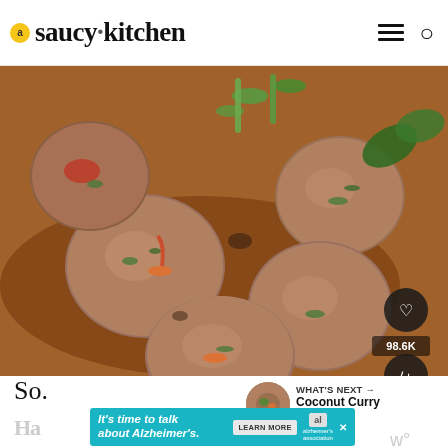saucy kitchen
[Figure (photo): Close-up photo of Asian-style meatballs with herbs, carrots, and sauce on a white plate, garnished with green onions and basil leaves. A heart/favorite button and share button overlay the bottom-right, with a count of 98.6K.]
WHAT'S NEXT → Coconut Curry Chicken...
So.
Ha
[Figure (infographic): Advertisement banner: It's time to talk about Alzheimer's. LEARN MORE button. Alzheimer's Association logo. Close button.]